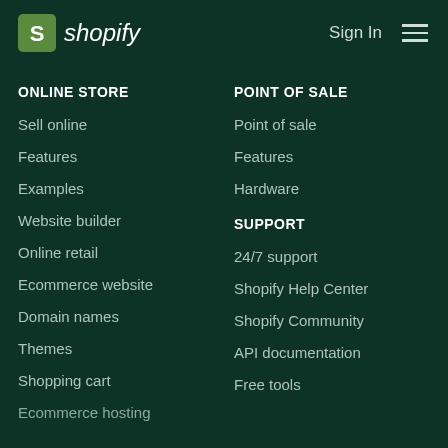shopify — Sign In [menu]
ONLINE STORE
Sell online
Features
Examples
Website builder
Online retail
Ecommerce website
Domain names
Themes
Shopping cart
Ecommerce hosting
POINT OF SALE
Point of sale
Features
Hardware
SUPPORT
24/7 support
Shopify Help Center
Shopify Community
API documentation
Free tools